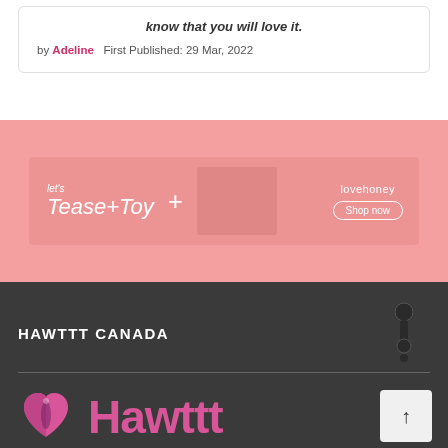know that you will love it.
by Adeline   First Published: 29 Mar, 2022
[Figure (illustration): Lovehoney 'Let's Tease + Toy' advertisement banner with products and Shop now button on pink background]
HAWTTT CANADA
[Figure (logo): Hawttt logo: pink heart icon and 'Hawttt' text in pink, with tagline Canada's Premium Sex Toy Hub]